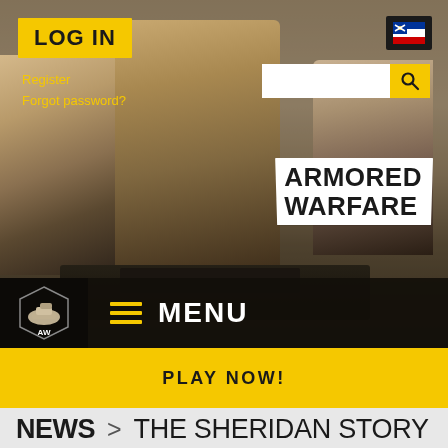[Figure (screenshot): Armored Warfare game website screenshot showing hero banner with three game characters, LOG IN button, Register/Forgot password links, flag icon, search bar, Armored Warfare logo, dark navigation bar with AW logo and MENU text, yellow PLAY NOW! button, and NEWS breadcrumb heading THE SHERIDAN STORY - PART 3]
LOG IN
Register
Forgot password?
ARMORED WARFARE
MENU
PLAY NOW!
NEWS > THE SHERIDAN STORY - PART 3